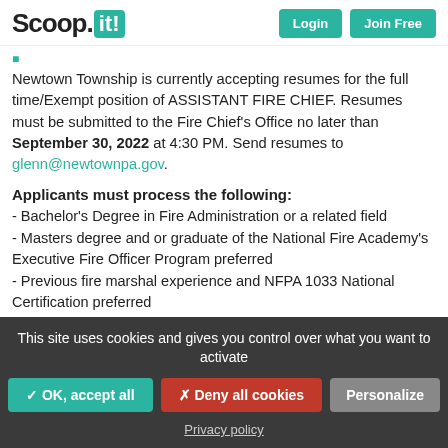Scoop.it! | Login | Join Free
Newtown Township is currently accepting resumes for the full time/Exempt position of ASSISTANT FIRE CHIEF. Resumes must be submitted to the Fire Chief's Office no later than September 30, 2022 at 4:30 PM. Send resumes to glenn@newtownpa.gov.
Applicants must process the following:
- Bachelor's Degree in Fire Administration or a related field
- Masters degree and or graduate of the National Fire Academy's Executive Fire Officer Program preferred
- Previous fire marshal experience and NFPA 1033 National Certification preferred
- Possess a valid Pennsylvania Class C Drivers' License required
- Current Fire Inspector Certification required
- Knowledge of modern fire suppression and prevention principles,
This site uses cookies and gives you control over what you want to activate
✓ OK, accept all | ✗ Deny all cookies | Personalize
Privacy policy